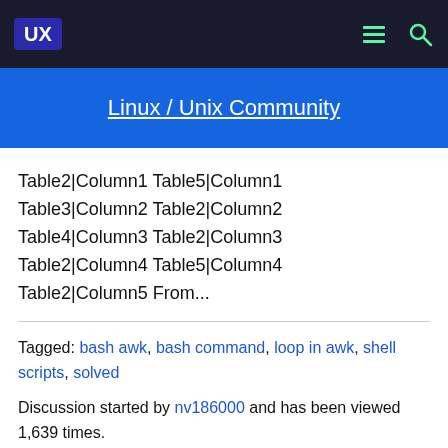UX | Linux / Unix Community
Table2|Column1 Table5|Column1
Table3|Column2 Table2|Column2
Table4|Column3 Table2|Column3
Table2|Column4 Table5|Column4
Table2|Column5 From...
Tagged: bash awk, bash command, loop in awk, shell scripts, solved
Discussion started by nv186000 and has been viewed 1,639 times.
There has been 6 replies and 1 user thanks in this discussion.